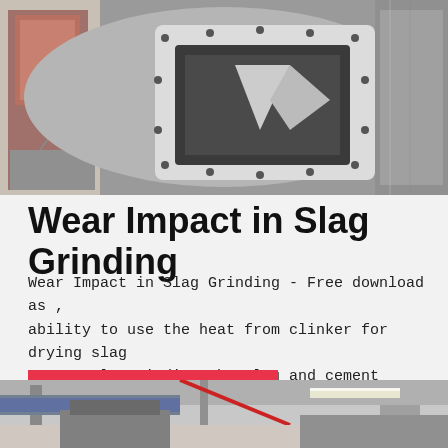[Figure (photo): Close-up photo of industrial grinding mill equipment showing a large rectangular access opening/hatch in a cylindrical metal drum, with industrial facility visible in background]
Wear Impact in Slag Grinding
Wear Impact in Slag Grinding - Free download as , ability to use the heat from clinker for drying slag Separately grinding the slag and cement clinker is more.
MORE INFO
[Figure (photo): Interior of an industrial facility showing machinery, ductwork and structural beams from a low angle perspective]